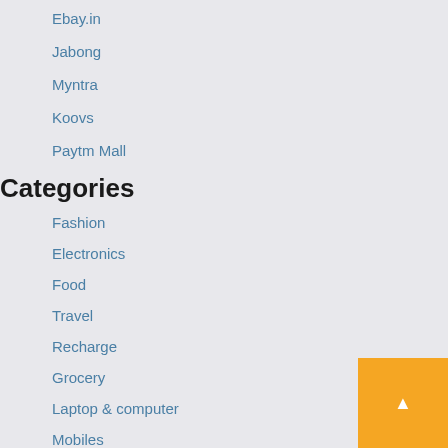Ebay.in
Jabong
Myntra
Koovs
Paytm Mall
Categories
Fashion
Electronics
Food
Travel
Recharge
Grocery
Laptop & computer
Mobiles
Freebie